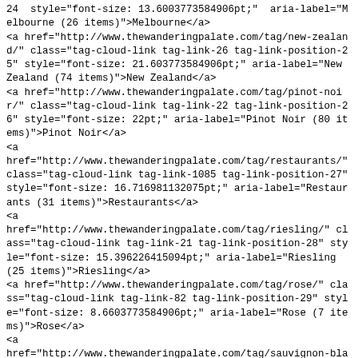24  style="font-size: 13.6003773584906pt;"  aria-label="Melbourne (26 items)">Melbourne</a>
<a href="http://www.thewanderingpalate.com/tag/new-zealand/" class="tag-cloud-link tag-link-26 tag-link-position-25" style="font-size: 21.603773584906pt;" aria-label="New Zealand (74 items)">New Zealand</a>
<a href="http://www.thewanderingpalate.com/tag/pinot-noir/" class="tag-cloud-link tag-link-22 tag-link-position-26" style="font-size: 22pt;" aria-label="Pinot Noir (80 items)">Pinot Noir</a>
<a
href="http://www.thewanderingpalate.com/tag/restaurants/" class="tag-cloud-link tag-link-1085 tag-link-position-27" style="font-size: 16.716981132075pt;" aria-label="Restaurants (31 items)">Restaurants</a>
<a
href="http://www.thewanderingpalate.com/tag/riesling/" class="tag-cloud-link tag-link-21 tag-link-position-28" style="font-size: 15.396226415094pt;" aria-label="Riesling (25 items)">Riesling</a>
<a href="http://www.thewanderingpalate.com/tag/rose/" class="tag-cloud-link tag-link-82 tag-link-position-29" style="font-size: 8.6603773584906pt;" aria-label="Rose (7 items)">Rose</a>
<a
href="http://www.thewanderingpalate.com/tag/sauvignon-blanc/" class="tag-cloud-link tag-link-53 tag-link-position-30" style="font-size: 12.358490566038pt;" aria-label="Sauvignon Blanc (14 items)">Sauvignon Blanc</a>